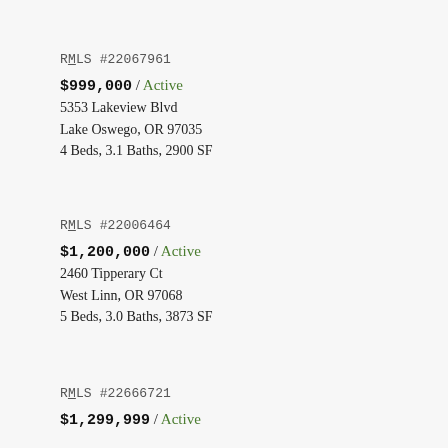RMLS #22067961
$999,000 / Active
5353 Lakeview Blvd
Lake Oswego, OR 97035
4 Beds, 3.1 Baths, 2900 SF
RMLS #22006464
$1,200,000 / Active
2460 Tipperary Ct
West Linn, OR 97068
5 Beds, 3.0 Baths, 3873 SF
RMLS #22666721
$1,299,999 / Active